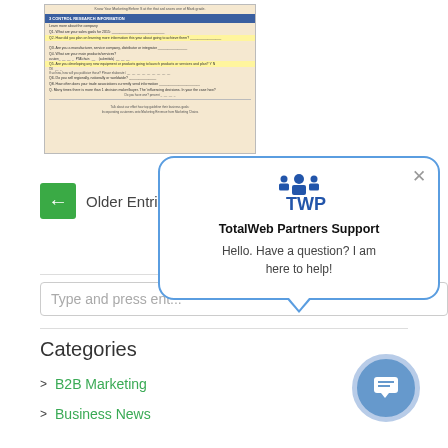[Figure (screenshot): Thumbnail of a document/form with blue header bar and highlighted yellow rows, showing a business questionnaire form]
← Older Entries
[Figure (screenshot): TotalWeb Partners Support chat popup with TWP logo, title 'TotalWebPartners Support', and message 'Hello. Have a question? I am here to help!']
Type and press ent...
Categories
> B2B Marketing
> Business News